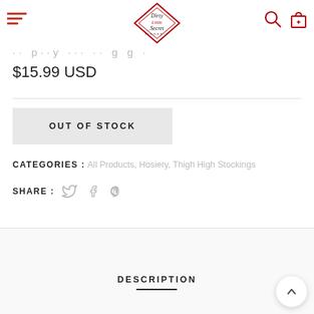Dirty Little Secret Lingerie — navigation header with hamburger menu, logo, search and cart icons
$15.99 USD
OUT OF STOCK
CATEGORIES : All Products, Hosiery, Thigh High Stockings
SHARE : (Twitter, Facebook, Pinterest icons)
DESCRIPTION